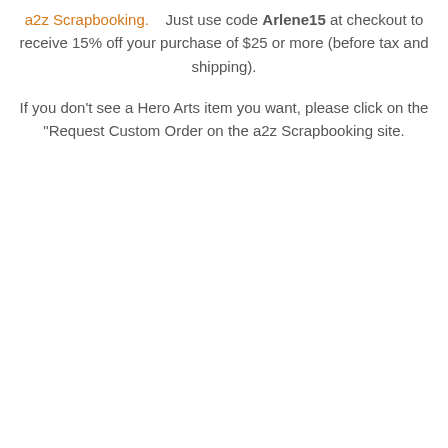a2z Scrapbooking.   Just use code Arlene15 at checkout to receive 15% off your purchase of $25 or more (before tax and shipping).
If you don't see a Hero Arts item you want, please click on the "Request Custom Order on the a2z Scrapbooking site.